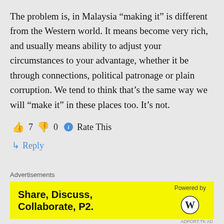The problem is, in Malaysia “making it” is different from the Western world. It means become very rich, and usually means ability to adjust your circumstances to your advantage, whether it be through connections, political patronage or plain corruption. We tend to think that’s the same way we will “make it” in these places too. It’s not.
👍 7 👎 0 ⓘ Rate This
↳ Reply
Advertisements
[Figure (other): Yellow advertisement banner reading 'Share, Discuss, Collaborate, P2.' with 'Powered by WordPress' logo on the right.]